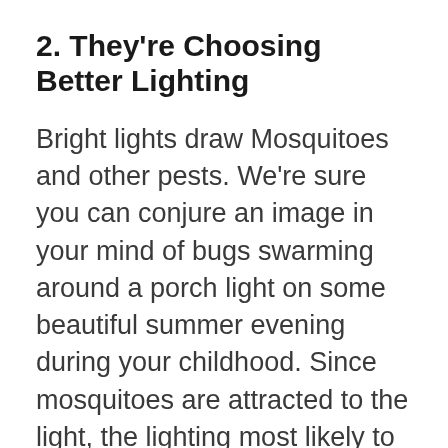2. They're Choosing Better Lighting
Bright lights draw Mosquitoes and other pests. We're sure you can conjure an image in your mind of bugs swarming around a porch light on some beautiful summer evening during your childhood. Since mosquitoes are attracted to the light, the lighting most likely to deter mosquitoes from your home is yellow lighting. While this might not be ideal for your evening